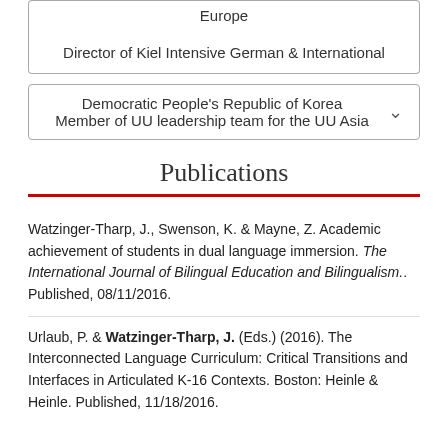Europe
Director of Kiel Intensive German & International
Democratic People's Republic of Korea
Member of UU leadership team for the UU Asia
Publications
Watzinger-Tharp, J., Swenson, K. & Mayne, Z. Academic achievement of students in dual language immersion. The International Journal of Bilingual Education and Bilingualism.. Published, 08/11/2016.
Urlaub, P. & Watzinger-Tharp, J. (Eds.) (2016). The Interconnected Language Curriculum: Critical Transitions and Interfaces in Articulated K-16 Contexts. Boston: Heinle & Heinle. Published, 11/18/2016.